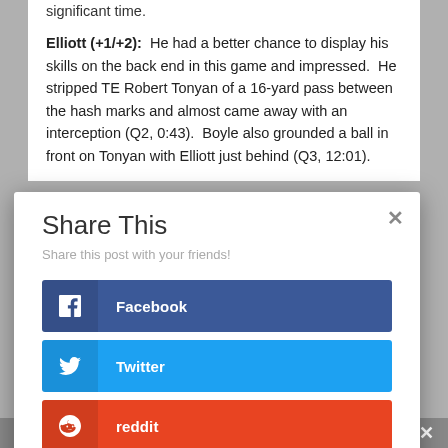significant time.
Elliott (+1/+2):  He had a better chance to display his skills on the back end in this game and impressed.  He stripped TE Robert Tonyan of a 16-yard pass between the hash marks and almost came away with an interception (Q2, 0:43).  Boyle also grounded a ball in front on Tonyan with Elliott just behind (Q3, 12:01).
[Figure (screenshot): A 'Share This' modal dialog with options to share on Facebook, Twitter, and reddit. Includes a close (x) button and subtitle 'Share this post with your friends!']